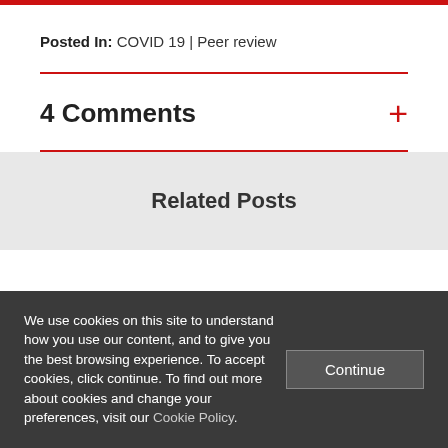Posted In: COVID 19 | Peer review
4 Comments
Related Posts
We use cookies on this site to understand how you use our content, and to give you the best browsing experience. To accept cookies, click continue. To find out more about cookies and change your preferences, visit our Cookie Policy.